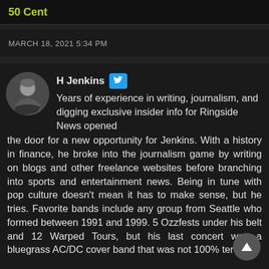50 Cent
MARCH 18, 2021 5:34 PM
H Jenkins
Years of experience in writing, journalism, and digging exclusive insider info for Ringside News opened the door for a new opportunity for Jenkins. With a history in finance, he broke into the journalism game by writing on blogs and other freelance websites before branching into sports and entertainment news. Being in tune with pop culture doesn't mean it has to make sense, but he tries. Favorite bands include any group from Seattle who formed between 1991 and 1999. 5 Ozzfests under his belt and 12 Warped Tours, but his last concert was a bluegrass AC/DC cover band that was not 100% terrible.